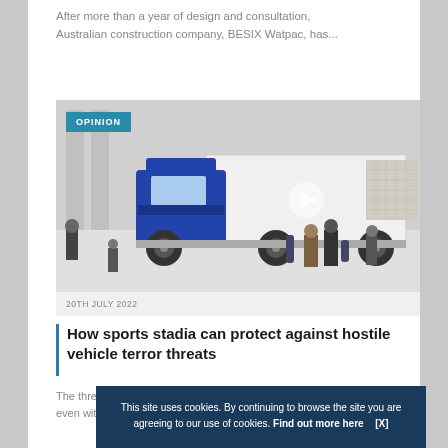After more than a year of design and consultation, Australian construction company, BESIX Watpac, has...
[Figure (photo): Blue delivery truck / HGV in a plaza setting with pedestrians in background, overlaid with an OPINION badge]
20TH JULY 2022
How sports stadia can protect against hostile vehicle terror threats
The threat of terrorism in the UK remains serious and, even witho...
This site uses cookies. By continuing to browse the site you are agreeing to our use of cookies. Find out more here   [X]